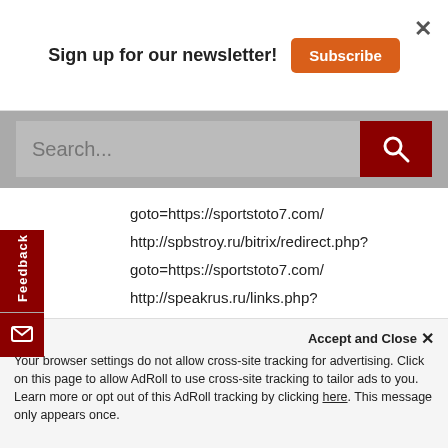Sign up for our newsletter!
goto=https://sportstoto7.com/
http://spbstroy.ru/bitrix/redirect.php?
goto=https://sportstoto7.com/
http://speakrus.ru/links.php?
go=https://sportstoto7.com/
http://staldver.ru/go.php?
go=https://sportstoto7.com/
http://www.stalker-modi.ru/go?
https://sportstoto7.com/
Accept and Close ×
Your browser settings do not allow cross-site tracking for advertising. Click on this page to allow AdRoll to use cross-site tracking to tailor ads to you. Learn more or opt out of this AdRoll tracking by clicking here. This message only appears once.